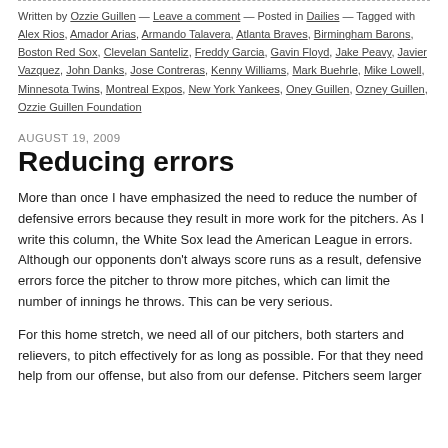Written by Ozzie Guillen — Leave a comment — Posted in Dailies — Tagged with Alex Rios, Amador Arias, Armando Talavera, Atlanta Braves, Birmingham Barons, Boston Red Sox, Clevelan Santeliz, Freddy Garcia, Gavin Floyd, Jake Peavy, Javier Vazquez, John Danks, Jose Contreras, Kenny Williams, Mark Buehrle, Mike Lowell, Minnesota Twins, Montreal Expos, New York Yankees, Oney Guillen, Ozney Guillen, Ozzie Guillen Foundation
AUGUST 19, 2009
Reducing errors
More than once I have emphasized the need to reduce the number of defensive errors because they result in more work for the pitchers. As I write this column, the White Sox lead the American League in errors. Although our opponents don't always score runs as a result, defensive errors force the pitcher to throw more pitches, which can limit the number of innings he throws. This can be very serious.
For this home stretch, we need all of our pitchers, both starters and relievers, to pitch effectively for as long as possible. For that they need help from our offense, but also from our defense. Pitchers seem larger